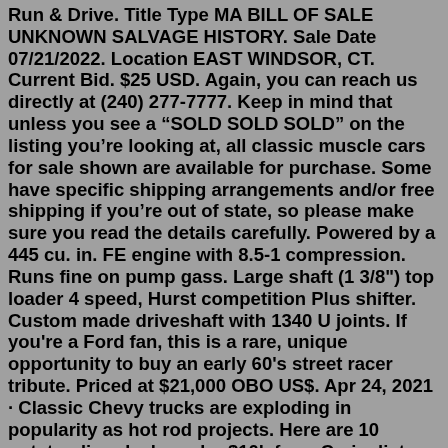Run & Drive. Title Type MA BILL OF SALE UNKNOWN SALVAGE HISTORY. Sale Date 07/21/2022. Location EAST WINDSOR, CT. Current Bid. $25 USD. Again, you can reach us directly at (240) 277-7777. Keep in mind that unless you see a "SOLD SOLD SOLD" on the listing you're looking at, all classic muscle cars for sale shown are available for purchase. Some have specific shipping arrangements and/or free shipping if you're out of state, so please make sure you read the details carefully. Powered by a 445 cu. in. FE engine with 8.5-1 compression. Runs fine on pump gass. Large shaft (1 3/8") top loader 4 speed, Hurst competition Plus shifter. Custom made driveshaft with 1340 U joints. If you're a Ford fan, this is a rare, unique opportunity to buy an early 60's street racer tribute. Priced at $21,000 OBO US$. Apr 24, 2021 · Classic Chevy trucks are exploding in popularity as hot rod projects. Here are 10 outstanding deals under $10k from Craigslist ads across the country. ... 10 Classic Chevy Trucks for Sale Under... 2004 MACK CV713 Fuel